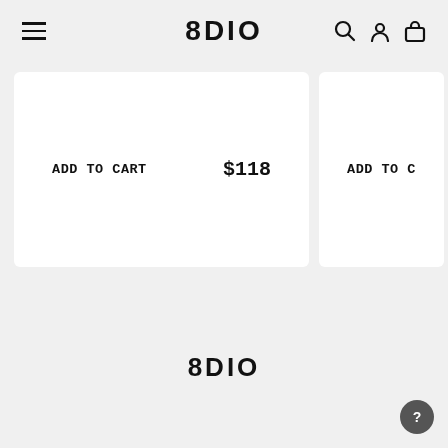8DIO
ADD TO CART  $118
ADD TO C
[Figure (logo): 8DIO footer logo]
?